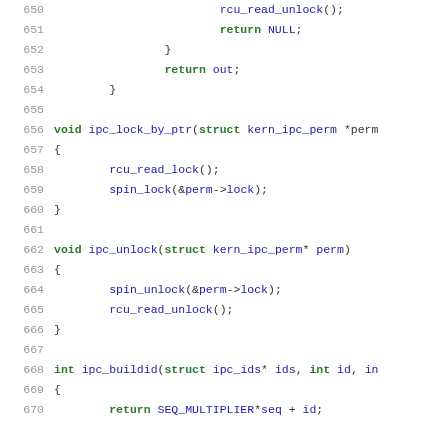650-670: C source code showing ipc_lock_by_ptr, ipc_unlock, and ipc_buildid functions